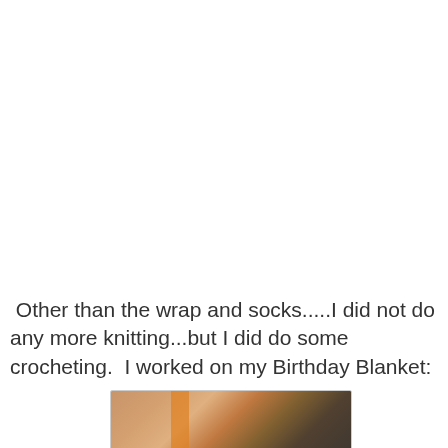Other than the wrap and socks.....I did not do any more knitting...but I did do some crocheting.  I worked on my Birthday Blanket:
[Figure (photo): Close-up photo of hands holding a crochet hook with an orange/gold handle, working on a project, against a dark grey background.]